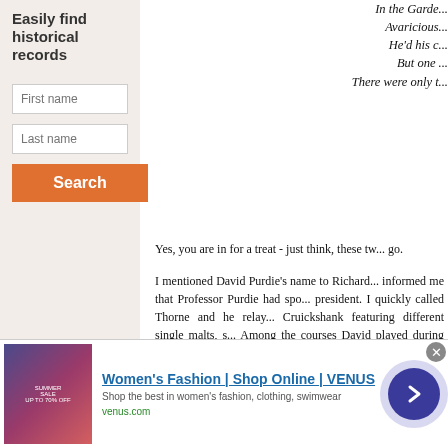Easily find historical records
First name
Last name
Search
In the Garde...
Avaricious...
He'd his c...
But one ...
There were only t...
Yes, you are in for a treat - just think, these tw... go.
I mentioned David Purdie's name to Richard... informed me that Professor Purdie had spo... president. I quickly called Thorne and he relay... Cruickshank featuring different single malts, s... Among the courses David played during his Ath... became evident from Purdie's stay in Georgia ... well.
We will take a brief look at some of its chapter... history and more humor than the law should all... Since no woman before Mary is known to hav... golf. After all, she was Queen of Scotland ano...
[Figure (infographic): Advertisement banner for Women's Fashion | Shop Online | VENUS. Shows a sale advertisement image on left, brand title in blue, subtitle text, and venus.com URL in green. A purple circular arrow button is on the right.]